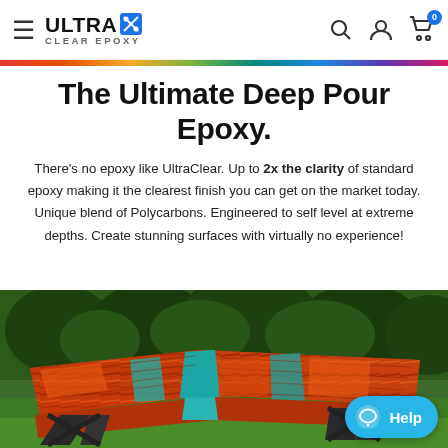UltraClear Epoxy — navigation header with hamburger, logo, search, account, and cart icons
The Ultimate Deep Pour Epoxy.
There's no epoxy like UltraClear. Up to 2x the clarity of standard epoxy making it the clearest finish you can get on the market today. Unique blend of Polycarbons. Engineered to self level at extreme depths. Create stunning surfaces with virtually no experience!
[Figure (photo): A stunning resin river table with vibrant red-orange wood slabs and teal/blue epoxy river channels, displayed on a metal frame stand on a grassy lawn with green shrubbery in the background. A blue 'Help' chat button appears in the bottom-right corner.]